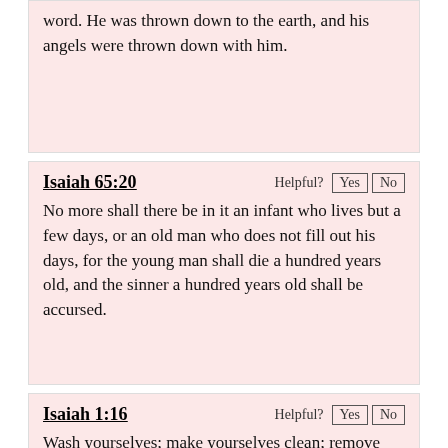word. He was thrown down to the earth, and his angels were thrown down with him.
Isaiah 65:20
No more shall there be in it an infant who lives but a few days, or an old man who does not fill out his days, for the young man shall die a hundred years old, and the sinner a hundred years old shall be accursed.
Isaiah 1:16
Wash yourselves; make yourselves clean; remove the evil of your deeds from before my eyes; cease to do evil,